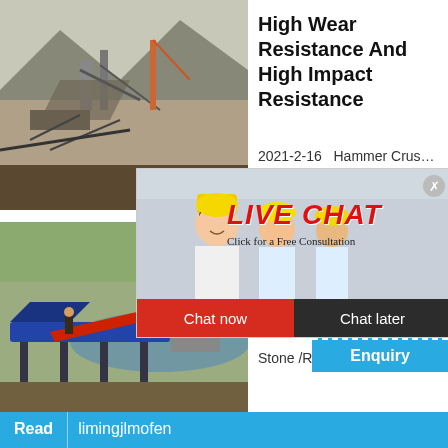[Figure (photo): Industrial mining/crushing site with machinery and mountains in the background]
High Wear Resistance And High Impact Resistance
2021-2-16   Hammer Crus…
[Figure (photo): Live chat popup with workers in yellow hard hats, LIVE CHAT title in red, Click for a Free Consultation text, Chat now and Chat later buttons]
[Figure (photo): Mining equipment with conveyor belt by a river]
Drinking Treatment Membra…
Stone /Ro…
Click me to chat>>
Enquiry
Read   limingjlmofen